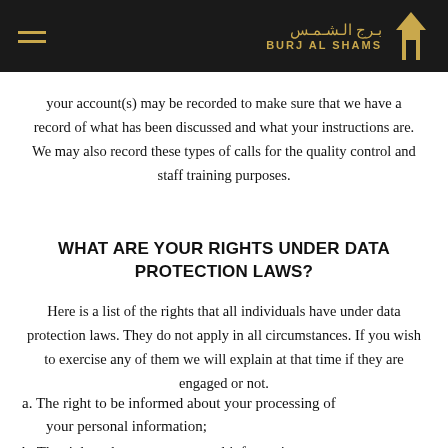Burj Al Shams
your account(s) may be recorded to make sure that we have a record of what has been discussed and what your instructions are. We may also record these types of calls for the quality control and staff training purposes.
WHAT ARE YOUR RIGHTS UNDER DATA PROTECTION LAWS?
Here is a list of the rights that all individuals have under data protection laws. They do not apply in all circumstances. If you wish to exercise any of them we will explain at that time if they are engaged or not.
a. The right to be informed about your processing of your personal information;
b. The right to have your personal information